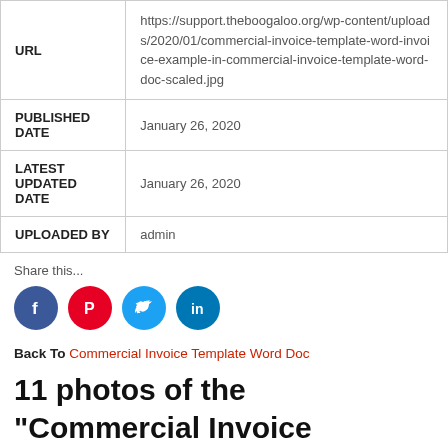| URL | https://support.theboogaloo.org/wp-content/uploads/2020/01/commercial-invoice-template-word-invoice-example-in-commercial-invoice-template-word-doc-scaled.jpg |
| PUBLISHED DATE | January 26, 2020 |
| LATEST UPDATED DATE | January 26, 2020 |
| UPLOADED BY | admin |
Share this...
Back To Commercial Invoice Template Word Doc
11 photos of the "Commercial Invoice Template Word Doc"